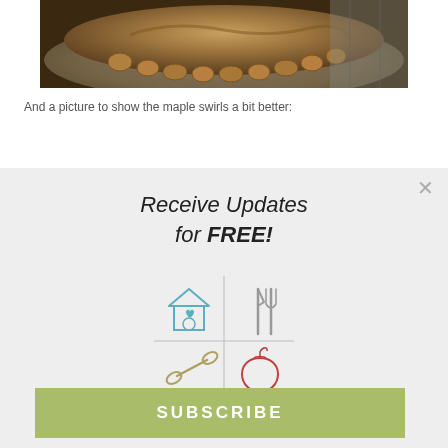[Figure (photo): Close-up photo of a cake or pie with walnuts arranged around the edge and a caramel/maple glaze on top, viewed from above on a plate.]
And a picture to show the maple swirls a bit better:
[Figure (infographic): Modal popup with 'Receive Updates for FREE!' heading, four icons in a grid (house with heart, fork and knife, dumbbell, apple), and a SUBSCRIBE button.]